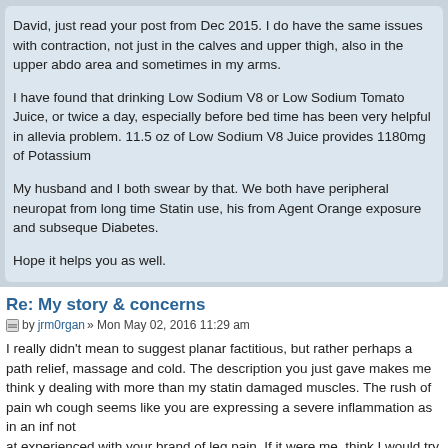David, just read your post from Dec 2015. I do have the same issues with contraction, not just in the calves and upper thigh, also in the upper abdo area and sometimes in my arms.

I have found that drinking Low Sodium V8 or Low Sodium Tomato Juice, or twice a day, especially before bed time has been very helpful in allevia problem. 11.5 oz of Low Sodium V8 Juice provides 1180mg of Potassium

My husband and I both swear by that. We both have peripheral neuropat from long time Statin use, his from Agent Orange exposure and subseque Diabetes.

Hope it helps you as well.
Re: My story & concerns
by jrm0rgan » Mon May 02, 2016 11:29 am
I really didn't mean to suggest planar factitious, but rather perhaps a path relief, massage and cold. The description you just gave makes me think y dealing with more than my statin damaged muscles. The rush of pain wh cough seems like you are expressing a severe inflammation as in an inf not
at experienced with your brand of leg pain. If it were me, think I would try neurologist type Dr. I don't wish to have you chasing all my uneducated g when you seem to have a pretty significant symptom set for something